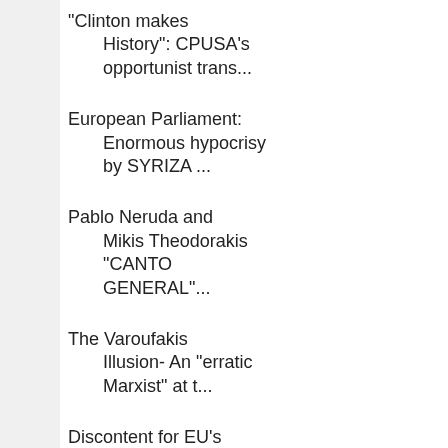"Clinton makes History": CPUSA's opportunist trans...
European Parliament: Enormous hypocrisy by SYRIZA ...
Pablo Neruda and Mikis Theodorakis "CANTO GENERAL"...
The Varoufakis Illusion- An "erratic Marxist" at t...
Discontent for EU's anti-people policies grows- Ne...
Spain: PCPE presents 42 lists to the General Elect...
The KKE is fighting for Greece's